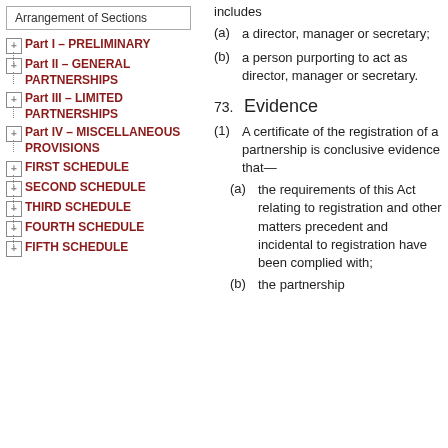Arrangement of Sections
Part I – PRELIMINARY
Part II – GENERAL PARTNERSHIPS
Part III – LIMITED PARTNERSHIPS
Part IV – MISCELLANEOUS PROVISIONS
FIRST SCHEDULE
SECOND SCHEDULE
THIRD SCHEDULE
FOURTH SCHEDULE
FIFTH SCHEDULE
includes
(a) a director, manager or secretary
(b) a person purporting to act as director, manager or secretary.
73. Evidence
(1) A certificate of the registration of a partnership is conclusive evidence that—
(a) the requirements of this Act relating to registration and other matters precedent and incidental to registration have been complied with;
(b) the partnership